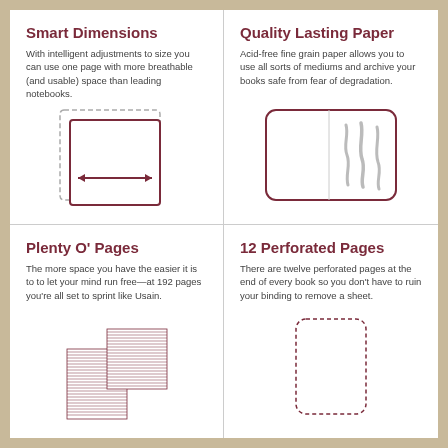Smart Dimensions
With intelligent adjustments to size you can use one page with more breathable (and usable) space than leading notebooks.
[Figure (illustration): Illustration of a notebook page with a dashed outer border showing a larger size, a solid inner rectangle, and a double-headed arrow indicating width measurement.]
Quality Lasting Paper
Acid-free fine grain paper allows you to use all sorts of mediums and archive your books safe from fear of degradation.
[Figure (illustration): Illustration of a notebook page with rounded corners and a vertical dividing line, with three wavy brush stroke marks on the right side showing paper quality.]
Plenty O' Pages
The more space you have the easier it is to to let your mind run free—at 192 pages you're all set to sprint like Usain.
[Figure (illustration): Illustration of stacked pages forming two towers of different heights, representing a large page count.]
12 Perforated Pages
There are twelve perforated pages at the end of every book so you don't have to ruin your binding to remove a sheet.
[Figure (illustration): Illustration of a single notebook page with rounded corners and a dashed border indicating perforated edges.]